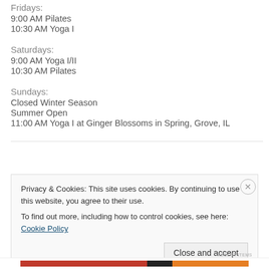Fridays:
9:00 AM Pilates
10:30 AM Yoga I
Saturdays:
9:00 AM Yoga I/II
10:30 AM Pilates
Sundays:
Closed Winter Season
Summer Open
11:00 AM Yoga I at Ginger Blossoms in Spring, Grove, IL
Privacy & Cookies: This site uses cookies. By continuing to use this website, you agree to their use.
To find out more, including how to control cookies, see here: Cookie Policy
Close and accept